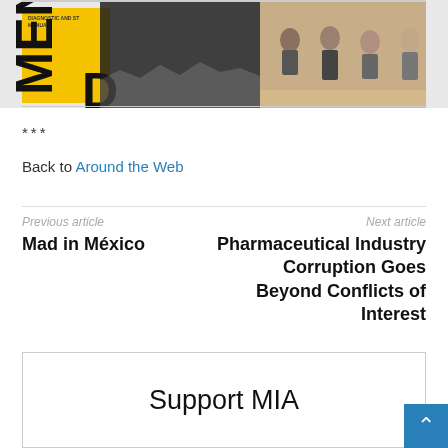[Figure (photo): Cropped image showing a DSM book with yellow cover and 'MENTA' text visible, overlaid with a dark silhouette figure, and a right panel showing people seated in a group setting.]
***
Back to Around the Web
Previous article
Mad in México
Next article
Pharmaceutical Industry Corruption Goes Beyond Conflicts of Interest
Support MIA